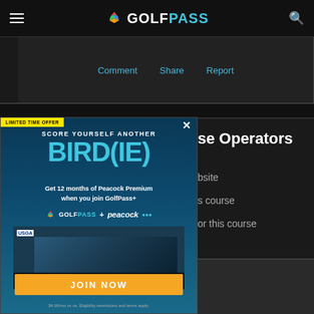GOLFPASS
Comment   Share   Report
se Operators
bsite
s course
or this course
[Figure (screenshot): GolfPass promotional ad overlay: 'LIMITED TIME OFFER - SCORE YOURSELF ANOTHER BIRD(IE) - Get 12 months of Peacock Premium when you join GolfPass+' with JOIN NOW button, showing GolfPass + Peacock logos and a USGA streaming screen image.]